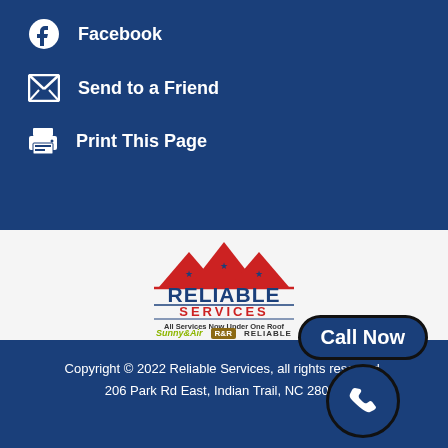Facebook
Send to a Friend
Print This Page
[Figure (logo): Reliable Services logo with red roof graphic, stars, and tagline 'All Services Now Under One Roof' with sub-brand logos: SunnyAir, R&R, Reliable]
Copyright © 2022 Reliable Services, all rights reserved.
206 Park Rd East, Indian Trail, NC 28079
[Figure (other): Call Now button with phone icon in circle]